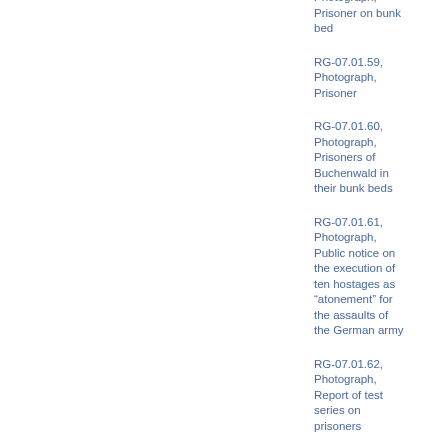Photograph, Prisoner on bunk bed
RG-07.01.59, Photograph, Prisoner
RG-07.01.60, Photograph, Prisoners of Buchenwald in their bunk beds
RG-07.01.61, Photograph, Public notice on the execution of ten hostages as “atonement” for the assaults of the German army
RG-07.01.62, Photograph, Report of test series on prisoners